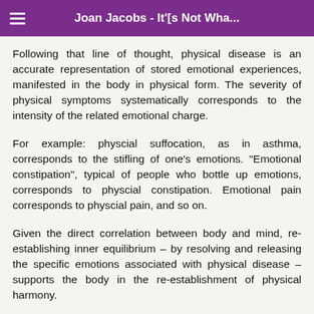Joan Jacobs - It'[s Not Wha...
Following that line of thought, physical disease is an accurate representation of stored emotional experiences, manifested in the body in physical form. The severity of physical symptoms systematically corresponds to the intensity of the related emotional charge.
For example: physcial suffocation, as in asthma, corresponds to the stifling of one’s emotions. “Emotional constipation”, typical of people who bottle up emotions, corresponds to physcial constipation. Emotional pain corresponds to physcial pain, and so on.
Given the direct correlation between body and mind, re-establishing inner equilibrium – by resolving and releasing the specific emotions associated with physical disease – supports the body in the re-establishment of physical harmony.